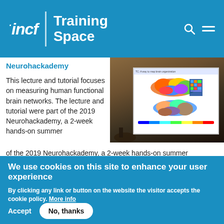incf | Training Space
Neurohackademy
This lecture and tutorial focuses on measuring human functional brain networks. The lecture and tutorial were part of the 2019 Neurohackademy, a 2-week hands-on summer
[Figure (photo): Photo of a lecture room with a projected slide showing colorful brain network maps and a connectivity matrix]
We use cookies on this site to enhance your user experience
By clicking any link or button on the website the visitor accepts the cookie policy. More info
Accept
No, thanks